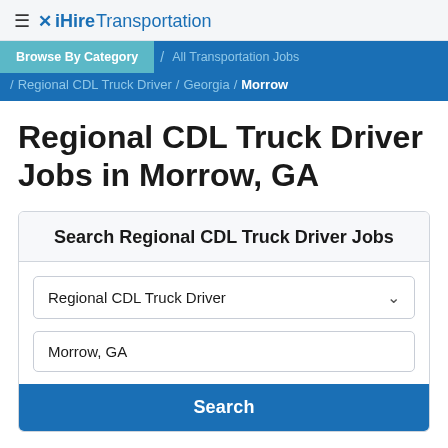≡ ✕ iHireTransportation
Browse By Category / All Transportation Jobs / Regional CDL Truck Driver / Georgia / Morrow
Regional CDL Truck Driver Jobs in Morrow, GA
Search Regional CDL Truck Driver Jobs
Regional CDL Truck Driver
Morrow, GA
Search